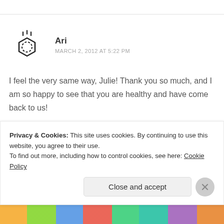[Figure (illustration): Benzene ring / chemistry flask avatar icon in black outline]
Ari
MARCH 2, 2012 AT 5:22 PM
I feel the very same way, Julie! Thank you so much, and I am so happy to see that you are healthy and have come back to us!
Reply
Privacy & Cookies: This site uses cookies. By continuing to use this website, you agree to their use. To find out more, including how to control cookies, see here: Cookie Policy
Close and accept